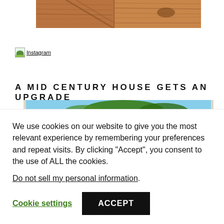[Figure (photo): Partial view of wooden shutters or stair railings with warm brown tones, top portion of image cropped]
[Figure (photo): Instagram image placeholder link showing small thumbnail with green/nature element and underlined text 'Instagram']
A MID CENTURY HOUSE GETS AN UPGRADE
[Figure (photo): Partial photo of a mid-century house exterior showing a flat roof line against blue sky with trees in background]
We use cookies on our website to give you the most relevant experience by remembering your preferences and repeat visits. By clicking “Accept”, you consent to the use of ALL the cookies.
Do not sell my personal information.
Cookie settings   ACCEPT